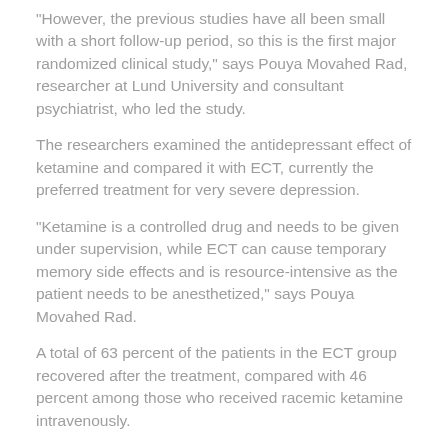“However, the previous studies have all been small with a short follow-up period, so this is the first major randomized clinical study,” says Pouya Movahed Rad, researcher at Lund University and consultant psychiatrist, who led the study.
The researchers examined the antidepressant effect of ketamine and compared it with ECT, currently the preferred treatment for very severe depression.
“Ketamine is a controlled drug and needs to be given under supervision, while ECT can cause temporary memory side effects and is resource-intensive as the patient needs to be anesthetized,” says Pouya Movahed Rad.
A total of 63 percent of the patients in the ECT group recovered after the treatment, compared with 46 percent among those who received racemic ketamine intravenously.
While both ECT and ketamine can successfully treat a severely depressed patient, they may not always cure the underlying condition, as depression is generally recurrent. Approximately as large a proportion in the ECT group as in the ketamine group had a relapse within 12 months.